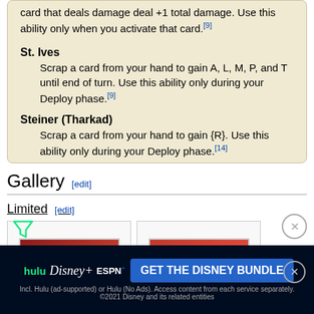card that deals damage deal +1 total damage. Use this ability only when you activate that card.[9]
St. Ives — Scrap a card from your hand to gain A, L, M, P, and T until end of turn. Use this ability only during your Deploy phase.[9]
Steiner (Tharkad) — Scrap a card from your hand to gain {R}. Use this ability only during your Deploy phase.[14]
Gallery [edit]
Limited [edit]
[Figure (photo): Gallery thumbnail showing a card image — dark red and grey tones]
[Figure (photo): Gallery thumbnail showing a card image — red tones]
[Figure (other): Advertisement: Hulu Disney+ ESPN+ GET THE DISNEY BUNDLE]